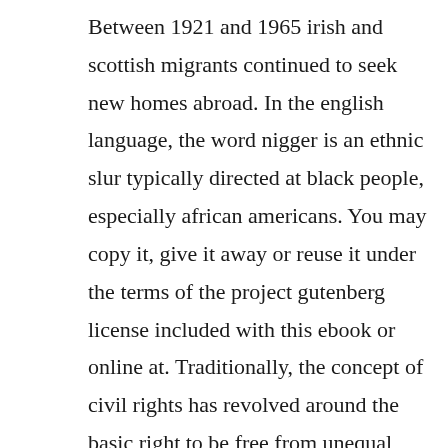Between 1921 and 1965 irish and scottish migrants continued to seek new homes abroad. In the english language, the word nigger is an ethnic slur typically directed at black people, especially african americans. You may copy it, give it away or reuse it under the terms of the project gutenberg license included with this ebook or online at. Traditionally, the concept of civil rights has revolved around the basic right to be free from unequal treatment based on certain protected characteristics race, gender, disability, etc. This lesson is to all socalled negroes, and all